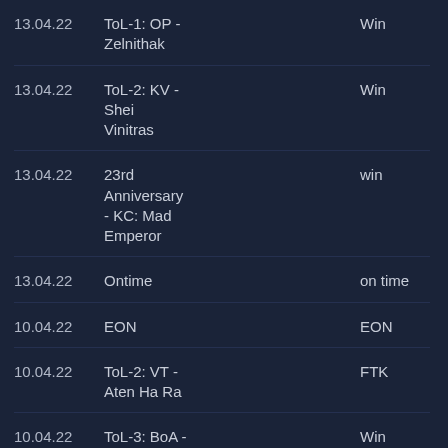13.04.22 | ToL-1: OP - Zelnithak | Win
13.04.22 | ToL-2: KV - Shei Vinitras | Win
13.04.22 | 23rd Anniversary - KC: Mad Emperor | win
13.04.22 | Ontime | on time
10.04.22 | EON | EON
10.04.22 | ToL-2: VT - Aten Ha Ra | FTK
10.04.22 | ToL-3: BoA - Oubliette of Light | Win
10.04.22 | 23rd Anniversary - KC: Mad | Win